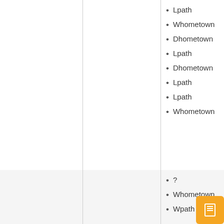Lpath
Whometown
Dhometown
Lpath
Dhometown
Lpath
Lpath
Whometown
?
Whometown
Wpath